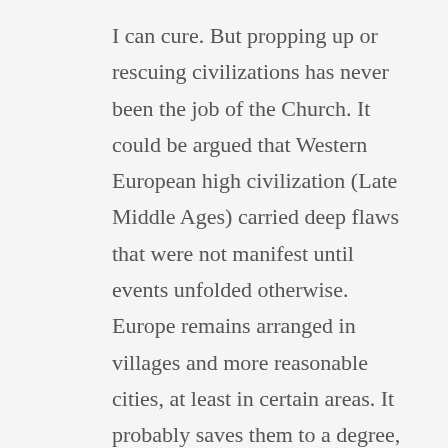I can cure. But propping up or rescuing civilizations has never been the job of the Church. It could be argued that Western European high civilization (Late Middle Ages) carried deep flaws that were not manifest until events unfolded otherwise. Europe remains arranged in villages and more reasonable cities, at least in certain areas. It probably saves them to a degree, just civilizationally. The movement of populations in Britain with the rise of the industrial revolution also brought crushing problems for the parish system that the Anglican Church never, ever adjusted to.
America is an experiment, created by the massive engine of the modern economy. Here's a deal.